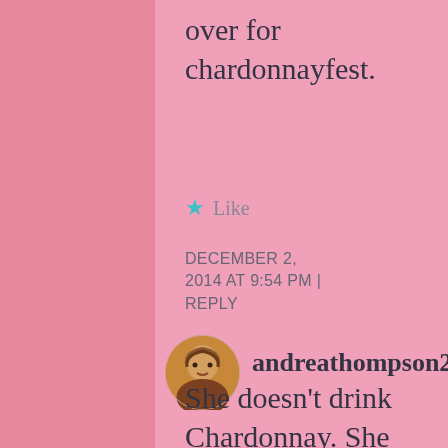over for chardonnayfest.
★ Like
DECEMBER 2, 2014 AT 9:54 PM | REPLY
[Figure (photo): Round avatar photo of a woman with blonde/auburn hair]
andreathompson2
She doesn't drink Chardonnay. She drinks Scotch and I